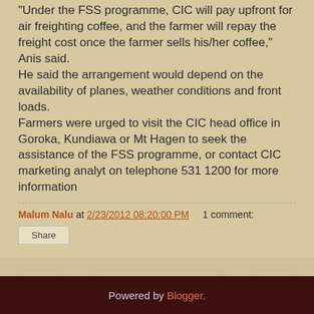"Under the FSS programme, CIC will pay upfront for air freighting coffee, and the farmer will repay the freight cost once the farmer sells his/her coffee," Anis said. He said the arrangement would depend on the availability of planes, weather conditions and front loads. Farmers were urged to visit the CIC head office in Goroka, Kundiawa or Mt Hagen to seek the assistance of the FSS programme, or contact CIC marketing analyt on telephone 531 1200 for more information
Malum Nalu at 2/23/2012 08:20:00 PM   1 comment:
Share
Home
View web version
Powered by Blogger.